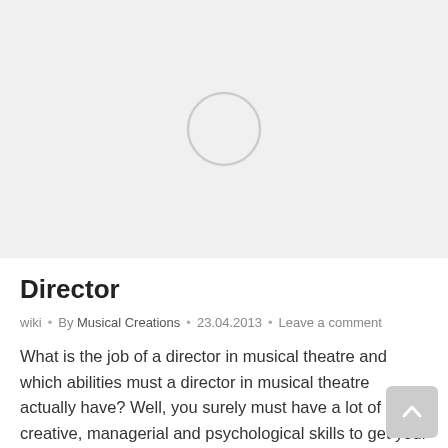[Figure (photo): Large placeholder image area with a light gray background and a gray circle in the center, indicating an image that has not loaded.]
Director
wiki  •  By Musical Creations  •  23.04.2013  •  Leave a comment
What is the job of a director in musical theatre and which abilities must a director in musical theatre actually have? Well, you surely must have a lot of creative, managerial and psychological skills to get your production on stage, but how does it all add up? We had the privilege of speaking to Broadway...